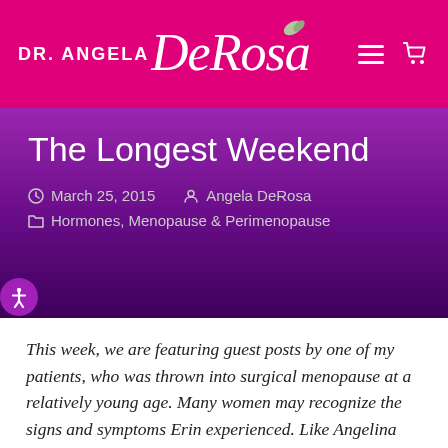Dr. Angela DeRosa
The Longest Weekend
March 25, 2015   Angela DeRosa   Hormones, Menopause & Perimenopause
This week, we are featuring guest posts by one of my patients, who was thrown into surgical menopause at a relatively young age. Many women may recognize the signs and symptoms Erin experienced. Like Angelina Jolie, she is sharing her story in hopes of